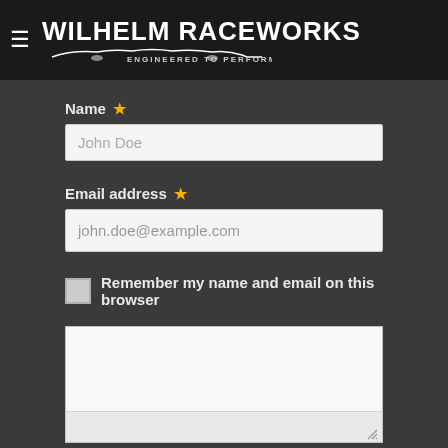WILHELM RACEWORKS — ENGINEERED TO PERFORM
Name *
John Doe
Email address *
john.doe@example.com
Remember my name and email on this browser
[Figure (screenshot): Empty textarea comment field with resize handle]
[Figure (screenshot): reCAPTCHA widget with checkbox and 'I'm not a robot' text]